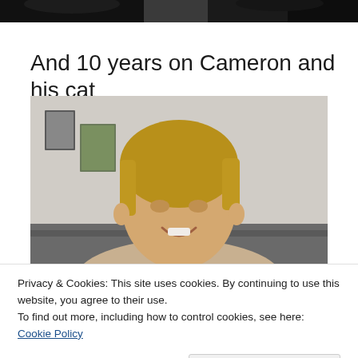[Figure (photo): Top portion of a photo showing cats, cropped at top of page]
And 10 years on Cameron and his cat
[Figure (photo): Photo of a young person with light brown hair sitting on a grey couch, smiling, with framed pictures on the wall behind]
Privacy & Cookies: This site uses cookies. By continuing to use this website, you agree to their use.
To find out more, including how to control cookies, see here: Cookie Policy
Close and accept
[Figure (photo): Bottom portion of a photo showing cats or animals, cropped at bottom of page]